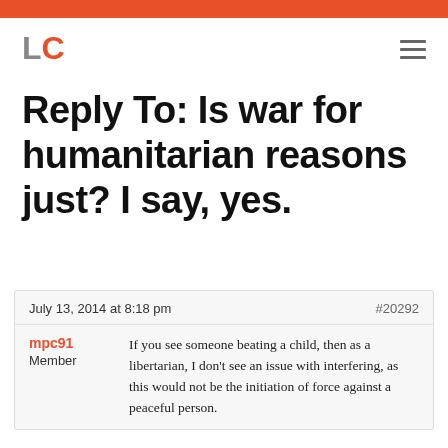LC (logo)
Reply To: Is war for humanitarian reasons just? I say, yes.
July 13, 2014 at 8:18 pm  #20292
mpc91
Member
If you see someone beating a child, then as a libertarian, I don't see an issue with interfering, as this would not be the initiation of force against a peaceful person.